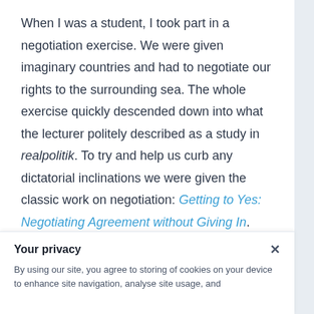When I was a student, I took part in a negotiation exercise. We were given imaginary countries and had to negotiate our rights to the surrounding sea. The whole exercise quickly descended down into what the lecturer politely described as a study in realpolitik. To try and help us curb any dictatorial inclinations we were given the classic work on negotiation: Getting to Yes: Negotiating Agreement without Giving In.
Your privacy
By using our site, you agree to storing of cookies on your device to enhance site navigation, analyse site usage, and